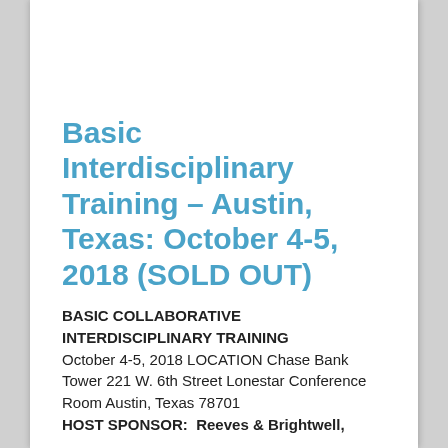Basic Interdisciplinary Training – Austin, Texas: October 4-5, 2018 (SOLD OUT)
BASIC COLLABORATIVE INTERDISCIPLINARY TRAINING October 4-5, 2018 LOCATION Chase Bank Tower 221 W. 6th Street Lonestar Conference Room Austin, Texas 78701 HOST SPONSOR:  Reeves & Brightwell,